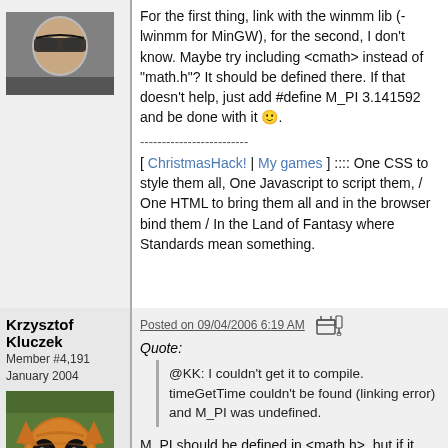[Figure (photo): Avatar image of a person wearing sunglasses]
For the first thing, link with the winmm lib (-lwinmm for MinGW), for the second, I don't know. Maybe try including <cmath> instead of "math.h"? It should be defined there. If that doesn't help, just add #define M_PI 3.141592 and be done with it 🙂.
-------------------------
[ ChristmasHack! | My games ] :::: One CSS to style them all, One Javascript to script them, / One HTML to bring them all and in the browser bind them / In the Land of Fantasy where Standards mean something.
Krzysztof Kluczek
Member #4,191
January 2004
[Figure (photo): Avatar image of a cat with wide eyes]
Posted on 09/04/2006 6:19 AM
Quote:
@KK: I couldn't get it to compile. timeGetTime couldn't be found (linking error) and M_PI was undefined.
M_PI should be defined in <math.h>, but if it isn't, you can define it yourself. timeGetTime() is Windows high-frequency timer, which declaration is in